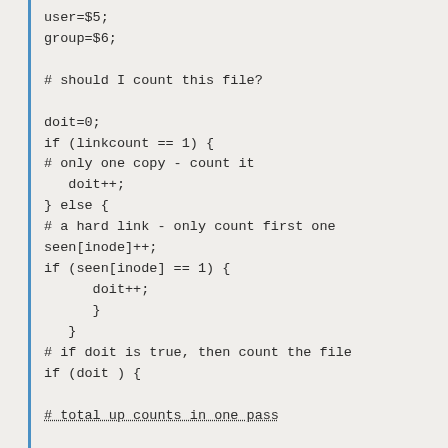user=$5;
group=$6;

# should I count this file?

doit=0;
if (linkcount == 1) {
# only one copy - count it
   doit++;
} else {
# a hard link - only count first one
seen[inode]++;
if (seen[inode] == 1) {
      doit++;
      }
   }
# if doit is true, then count the file
if (doit ) {

# total up counts in one pass